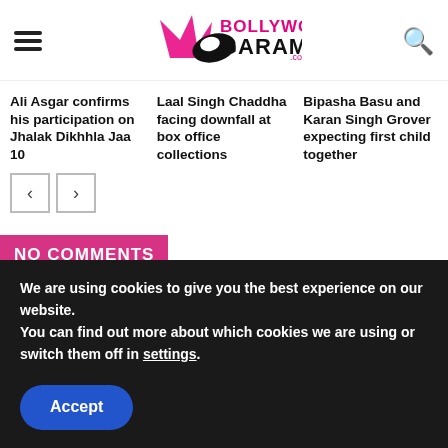Bollywood Garam .com
Ali Asgar confirms his participation on Jhalak Dikhhla Jaa 10
Laal Singh Chaddha facing downfall at box office collections
Bipasha Basu and Karan Singh Grover expecting first child together
NO COMMENTS
STAY CONNECTED
We are using cookies to give you the best experience on our website.
You can find out more about which cookies we are using or switch them off in settings.
Accept